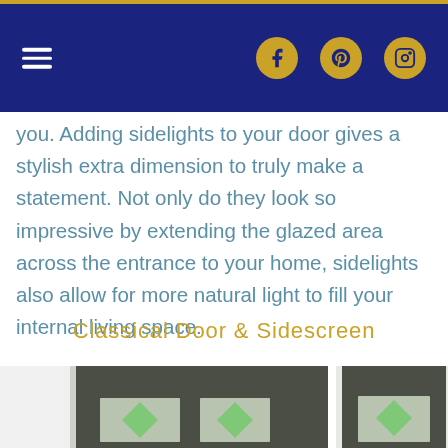Navigation bar with hamburger menu and social media icons (Facebook, Pinterest, Instagram)
you. Adding sidelights to your door gives a stylish extra dimension to truly make a statement. Not only do they look so impressive by extending the glazed area across the entrance to your home, sidelights also allow for more natural light to fill your internal living space.
Classical Door & Sidescreen
[Figure (photo): Photo of a Classical Door and Sidescreen showing two dark green composite doors with decorative glass panels featuring green diamond shapes, next to a white-framed sidescreen panel]